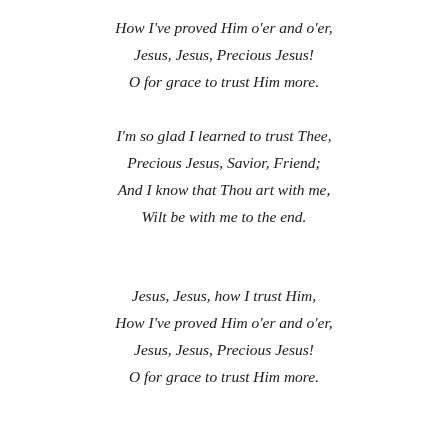How I've proved Him o'er and o'er,
Jesus, Jesus, Precious Jesus!
O for grace to trust Him more.
I'm so glad I learned to trust Thee,
Precious Jesus, Savior, Friend;
And I know that Thou art with me,
Wilt be with me to the end.
Jesus, Jesus, how I trust Him,
How I've proved Him o'er and o'er,
Jesus, Jesus, Precious Jesus!
O for grace to trust Him more.